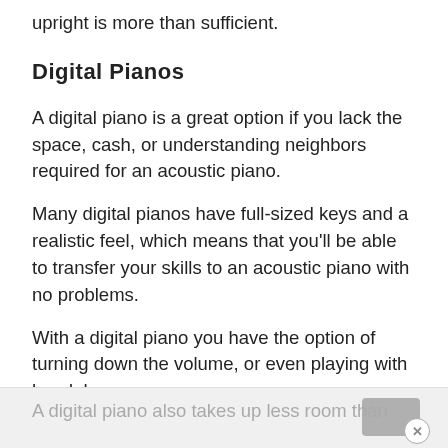upright is more than sufficient.
Digital Pianos
A digital piano is a great option if you lack the space, cash, or understanding neighbors required for an acoustic piano.
Many digital pianos have full-sized keys and a realistic feel, which means that you'll be able to transfer your skills to an acoustic piano with no problems.
With a digital piano you have the option of turning down the volume, or even playing with headphones.
A digital piano also takes up less room than